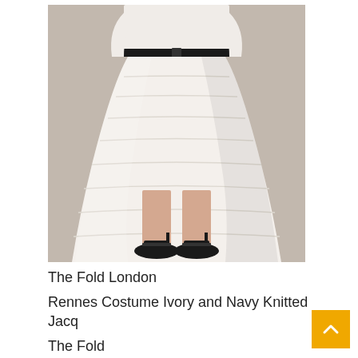[Figure (photo): Fashion photo of a woman wearing a white/ivory knitted jacquard A-line midi skirt with horizontal banded texture and a black belt, paired with black ankle-strap heels. The model is shown from waist down against a grey background.]
The Fold London
Rennes Costume Ivory and Navy Knitted Jacq
The Fold